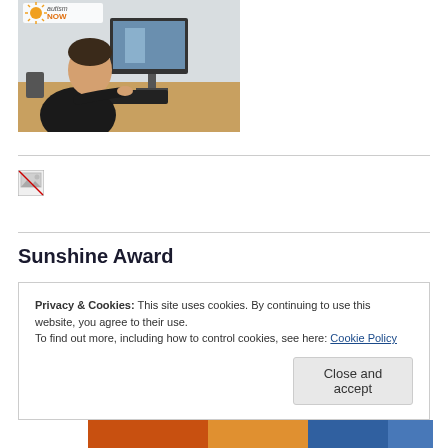[Figure (photo): Person sitting at a desk using a computer with keyboard and monitor. Autism NOW logo visible in top-left corner of the image.]
[Figure (photo): Broken/missing image placeholder icon]
Sunshine Award
Privacy & Cookies: This site uses cookies. By continuing to use this website, you agree to their use.
To find out more, including how to control cookies, see here: Cookie Policy
[Close and accept button]
[Figure (photo): Partial colorful image visible at the bottom of the page, orange and blue colors]